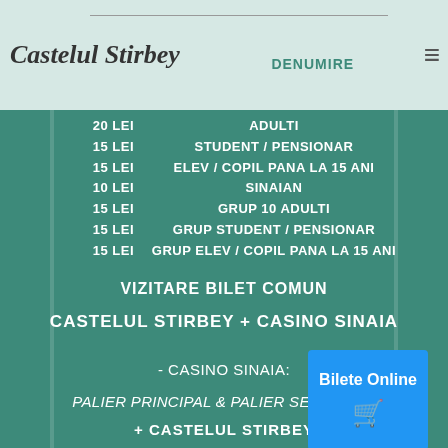Castelul Stirbey
| PRET | DENUMIRE |
| --- | --- |
| 20 LEI | ADULTI |
| 15 LEI | STUDENT / PENSIONAR |
| 15 LEI | ELEV / COPIL PANA LA 15 ANI |
| 10 LEI | SINAIAN |
| 15 LEI | GRUP 10 ADULTI |
| 15 LEI | GRUP STUDENT / PENSIONAR |
| 15 LEI | GRUP ELEV / COPIL PANA LA 15 ANI |
[Figure (other): Bilete Online button with shopping cart icon]
VIZITARE BILET COMUN
CASTELUL STIRBEY + CASINO SINAIA
- CASINO SINAIA:
PALIER PRINCIPAL & PALIER SECUNDAR + CASTELUL STIRBEY
| PRET | DENUMIRE |
| --- | --- |
| 30 LEI | ADULTI |
| 25 LEI | STUDENT / PENSIONAR |